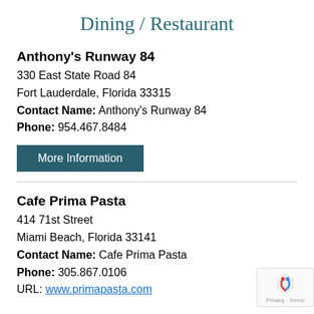Dining / Restaurant
Anthony's Runway 84
330 East State Road 84
Fort Lauderdale, Florida 33315
Contact Name: Anthony's Runway 84
Phone: 954.467.8484
More Information
Cafe Prima Pasta
414 71st Street
Miami Beach, Florida 33141
Contact Name: Cafe Prima Pasta
Phone: 305.867.0106
URL: www.primapasta.com